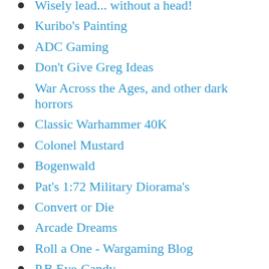Wisely lead... without a head!
Kuribo's Painting
ADC Gaming
Don't Give Greg Ideas
War Across the Ages, and other dark horrors
Classic Warhammer 40K
Colonel Mustard
Bogenwald
Pat's 1:72 Military Diorama's
Convert or Die
Arcade Dreams
Roll a One - Wargaming Blog
P.B.Eye-Candy
SP's Projects Blog
30mmdave
Faith&Steel